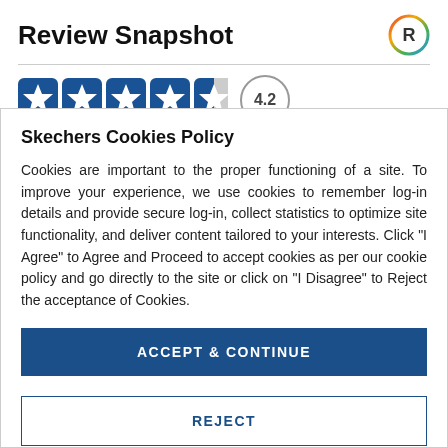Review Snapshot
[Figure (other): 4.2 star rating display with 4 full blue stars and 1 half star, followed by a circled 4.2 rating score]
Skechers Cookies Policy
Cookies are important to the proper functioning of a site. To improve your experience, we use cookies to remember log-in details and provide secure log-in, collect statistics to optimize site functionality, and deliver content tailored to your interests. Click "I Agree" to Agree and Proceed to accept cookies as per our cookie policy and go directly to the site or click on "I Disagree" to Reject the acceptance of Cookies.
ACCEPT & CONTINUE
REJECT